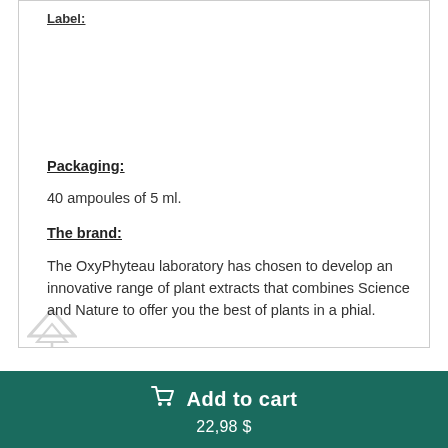Label:
Packaging:
40 ampoules of 5 ml.
The brand:
The OxyPhyteau laboratory has chosen to develop an innovative range of plant extracts that combines Science and Nature to offer you the best of plants in a phial.
Add to cart
22,98 $